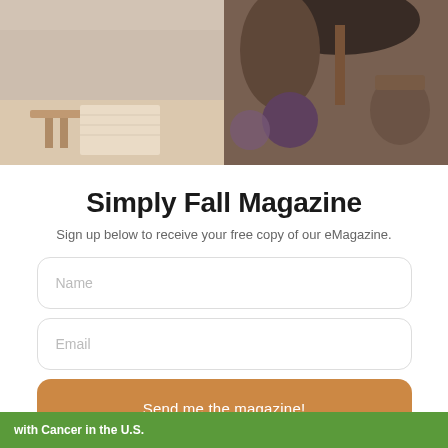[Figure (photo): Top portion of page showing kitchen/craft scene with pottery, globe, and autumn decorative items on a table. Two photos side by side.]
Simply Fall Magazine
Sign up below to receive your free copy of our eMagazine.
[Figure (screenshot): Name input field with placeholder text]
[Figure (screenshot): Email input field with placeholder text]
[Figure (screenshot): Orange submit button with text: Send me the magazine!]
with Cancer in the U.S.